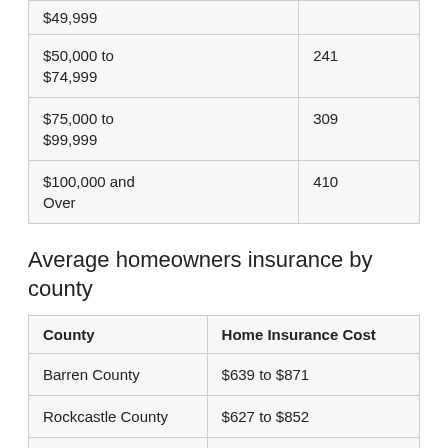| Income Range | Value |
| --- | --- |
| $49,999 |  |
| $50,000 to $74,999 | 241 |
| $75,000 to $99,999 | 309 |
| $100,000 and Over | 410 |
Average homeowners insurance by county
| County | Home Insurance Cost |
| --- | --- |
| Barren County | $639 to $871 |
| Rockcastle County | $627 to $852 |
| Ohio County | $629 to $855 |